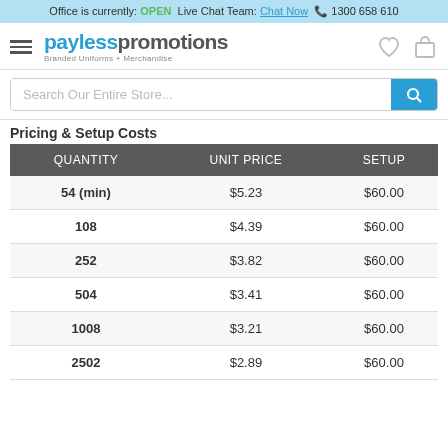Office is currently: OPEN  Live Chat Team: Chat Now  📞 1300 658 610
[Figure (logo): Payless Promotions logo with tagline 'Branded Uniforms + Merchandise', hamburger menu icon, heart icon, and bag icon]
Search Our Entire Store...
Pricing & Setup Costs
| QUANTITY | UNIT PRICE | SETUP |
| --- | --- | --- |
| 54 (min) | $5.23 | $60.00 |
| 108 | $4.39 | $60.00 |
| 252 | $3.82 | $60.00 |
| 504 | $3.41 | $60.00 |
| 1008 | $3.21 | $60.00 |
| 2502 | $2.89 | $60.00 |